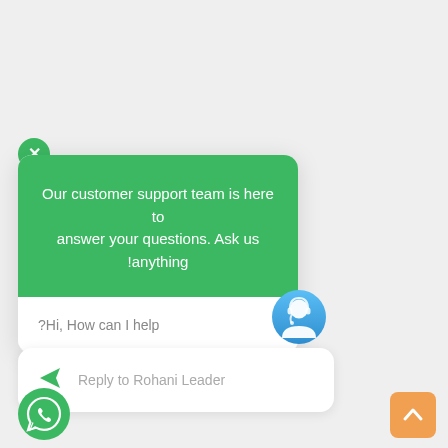[Figure (screenshot): Customer support chat widget with green header, message bubble, reply box, WhatsApp button, and scroll-to-top button]
Our customer support team is here to answer your questions. Ask us !anything
?Hi, How can I help
Reply to Rohani Leader